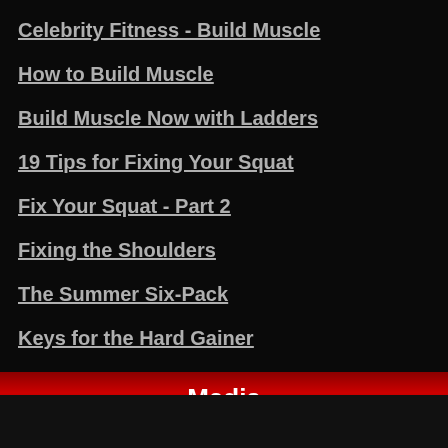Celebrity Fitness - Build Muscle
How to Build Muscle
Build Muscle Now with Ladders
19 Tips for Fixing Your Squat
Fix Your Squat - Part 2
Fixing the Shoulders
The Summer Six-Pack
Keys for the Hard Gainer
Improving Your Deadlift Grip
Top 5 Core Exercises
Media